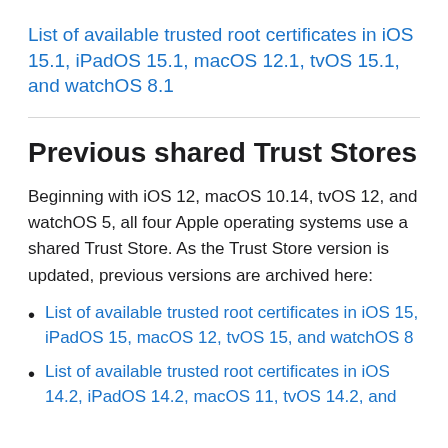List of available trusted root certificates in iOS 15.1, iPadOS 15.1, macOS 12.1, tvOS 15.1, and watchOS 8.1
Previous shared Trust Stores
Beginning with iOS 12, macOS 10.14, tvOS 12, and watchOS 5, all four Apple operating systems use a shared Trust Store. As the Trust Store version is updated, previous versions are archived here:
List of available trusted root certificates in iOS 15, iPadOS 15, macOS 12, tvOS 15, and watchOS 8
List of available trusted root certificates in iOS 14.2, iPadOS 14.2, macOS 11, tvOS 14.2, and